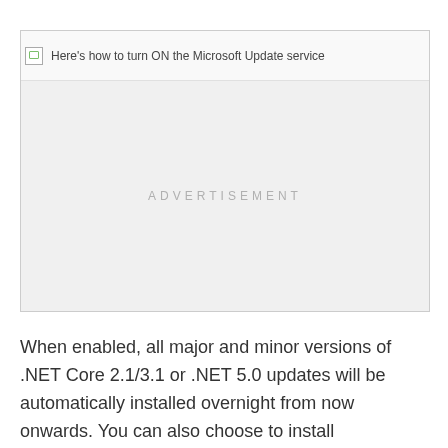[Figure (screenshot): Broken image placeholder with alt text: Here's how to turn ON the Microsoft Update service, followed by a grey advertisement placeholder area]
When enabled, all major and minor versions of .NET Core 2.1/3.1 or .NET 5.0 updates will be automatically installed overnight from now onwards. You can also choose to install